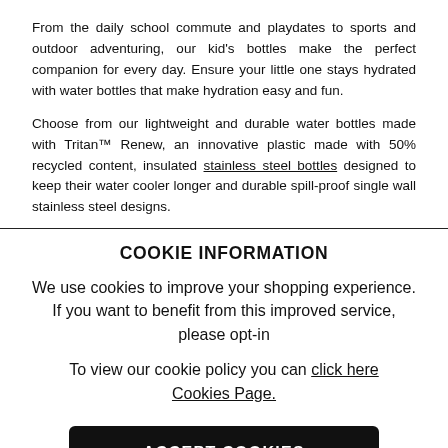From the daily school commute and playdates to sports and outdoor adventuring, our kid's bottles make the perfect companion for every day. Ensure your little one stays hydrated with water bottles that make hydration easy and fun.
Choose from our lightweight and durable water bottles made with Tritan™ Renew, an innovative plastic made with 50% recycled content, insulated stainless steel bottles designed to keep their water cooler longer and durable spill-proof single wall stainless steel designs.
COOKIE INFORMATION
We use cookies to improve your shopping experience. If you want to benefit from this improved service, please opt-in
To view our cookie policy you can click here Cookies Page.
ACCEPT COOKIES